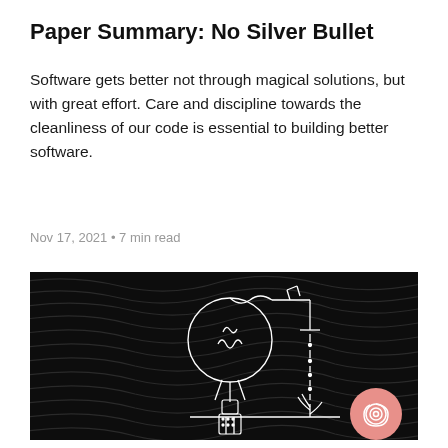Paper Summary: No Silver Bullet
Software gets better not through magical solutions, but with great effort. Care and discipline towards the cleanliness of our code is essential to building better software.
Nov 17, 2021 • 7 min read
[Figure (illustration): Dark black fabric background with a white line-art illustration of a person standing beneath a lightbulb made of wire, connected to a leaky faucet dripping water onto a small plant. A pink circle icon is in the bottom-right corner.]